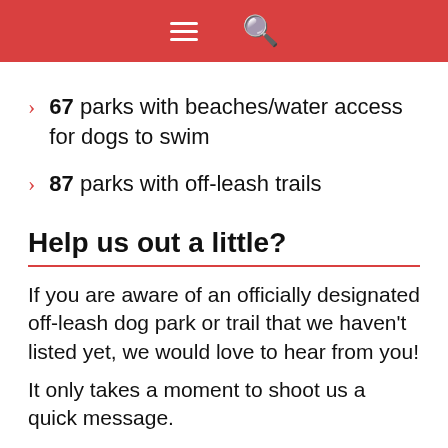Navigation header with menu and search icons
67 parks with beaches/water access for dogs to swim
87 parks with off-leash trails
Help us out a little?
If you are aware of an officially designated off-leash dog park or trail that we haven't listed yet, we would love to hear from you! It only takes a moment to shoot us a quick message. You will be helping your fellow dog-lovers find ...